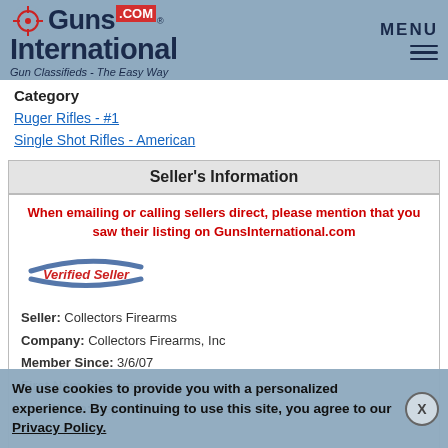GunsInternational.com - Gun Classifieds - The Easy Way
Category
Ruger Rifles - #1
Single Shot Rifles - American
Seller's Information
When emailing or calling sellers direct, please mention that you saw their listing on GunsInternational.com
[Figure (logo): Verified Seller badge with swoosh lines]
Seller: Collectors Firearms
Company: Collectors Firearms, Inc
Member Since: 3/6/07
First Name: E-commerce
Last Name: Department
State: Texas
Zip: 77062
Country: United States
Phone: (832) 360-1771
We use cookies to provide you with a personalized experience. By continuing to use this site, you agree to our Privacy Policy.